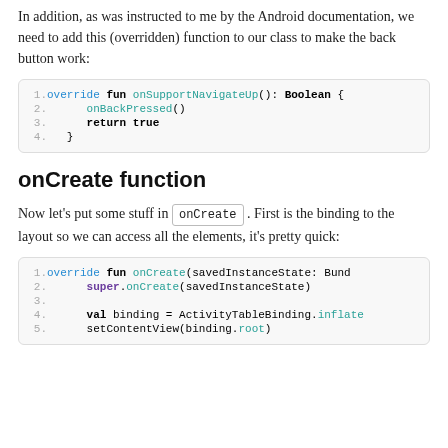In addition, as was instructed to me by the Android documentation, we need to add this (overridden) function to our class to make the back button work:
[Figure (screenshot): Code block showing override fun onSupportNavigateUp(): Boolean { onBackPressed() return true }]
onCreate function
Now let's put some stuff in onCreate. First is the binding to the layout so we can access all the elements, it's pretty quick:
[Figure (screenshot): Code block showing override fun onCreate(savedInstanceState: Bundle) { super.onCreate(savedInstanceState) val binding = ActivityTableBinding.inflate setContentView(binding.root) }]